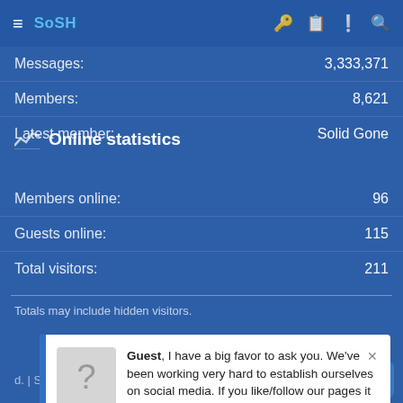SoSH (navigation bar with hamburger menu and icons)
Messages: 3,333,371+
Members: 8,621
Latest member: Solid Gone
Online statistics
Members online: 96
Guests online: 115
Total visitors: 211
Totals may include hidden visitors.
Guest, I have a big favor to ask you. We've been working very hard to establish ourselves on social media. If you like/follow our pages it would be a HUGE help to us. SoSH on Facebook and Inside the Pylon Thanks! Nip
Style and add-ons | Home | Help